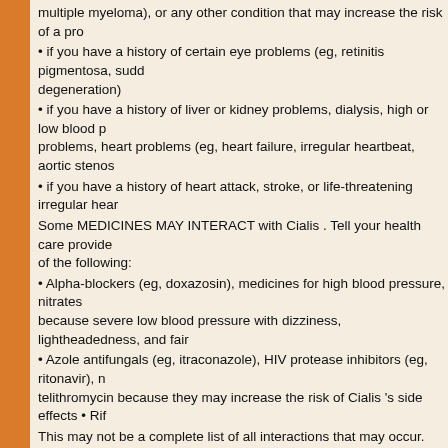multiple myeloma), or any other condition that may increase the risk of a pro
• if you have a history of certain eye problems (eg, retinitis pigmentosa, sudd... degeneration)
• if you have a history of liver or kidney problems, dialysis, high or low blood p... problems, heart problems (eg, heart failure, irregular heartbeat, aortic stenos
• if you have a history of heart attack, stroke, or life-threatening irregular hear
Some MEDICINES MAY INTERACT with Cialis . Tell your health care provide... of the following:
• Alpha-blockers (eg, doxazosin), medicines for high blood pressure, nitrates... because severe low blood pressure with dizziness, lightheadedness, and fair
• Azole antifungals (eg, itraconazole), HIV protease inhibitors (eg, ritonavir), n... telithromycin because they may increase the risk of Cialis 's side effects • Rif
This may not be a complete list of all interactions that may occur. Ask your he... medicines that you take. Check with your health care provider before you sta
How to use Cialis:
Use Cialis as directed by your doctor. Check the label on the medicine for exa... available with Cialis . Talk to your pharmacist if you have questions about this
• Take Cialis by mouth with or without food.
• Cialis may be taken up to 36 hours before sexual activity, as directed by you
• Do not take Cialis more often than once daily, or as directed by your doctor.
• Check with your doctor before you eat grapefruit or drink grapefruit juice wh
• If you miss a dose of Cialis and you still intend to engage in sexual activity,
as directed by your doctor.